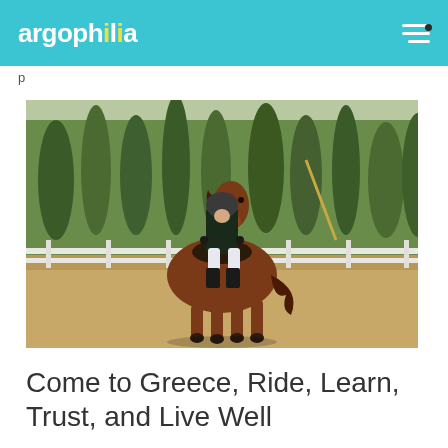argophilia
p
[Figure (photo): A rider in black equestrian attire and helmet sitting atop a chestnut horse in an outdoor riding arena, with white fence and green trees in the background.]
Come to Greece, Ride, Learn, Trust, and Live Well